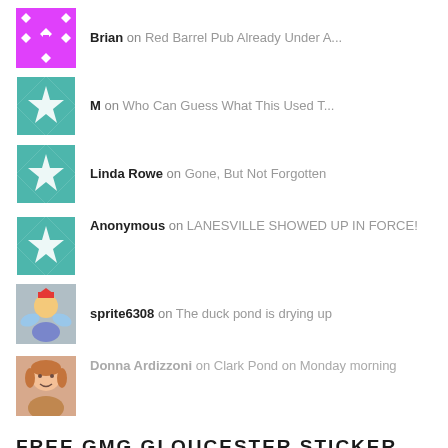Brian on Red Barrel Pub Already Under A...
M on Who Can Guess What This Used T...
Linda Rowe on Gone, But Not Forgotten
Anonymous on LANESVILLE SHOWED UP IN FORCE!
sprite6308 on The duck pond is drying up
Donna Ardizzoni on Clark Pond on Monday morning
FREE GMG GLOUCESTER STICKER
[Figure (photo): Thumbnail image of a sticker (partially visible at bottom)]